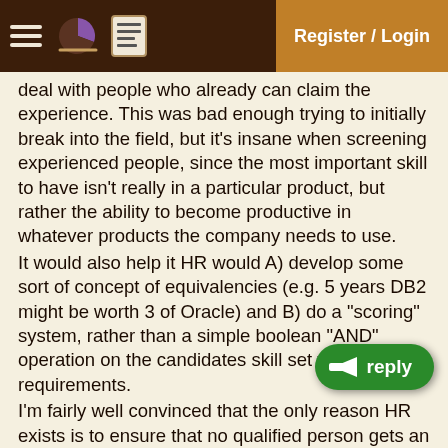Register / Login
deal with people who already can claim the experience. This was bad enough trying to initially break into the field, but it's insane when screening experienced people, since the most important skill to have isn't really in a particular product, but rather the ability to become productive in whatever products the company needs to use.
It would also help it HR would A) develop some sort of concept of equivalencies (e.g. 5 years DB2 might be worth 3 of Oracle) and B) do a "scoring" system, rather than a simple boolean "AND" operation on the candidates skill set vs. their requirements.
I'm fairly well convinced that the only reason HR exists is to ensure that no qualified person gets an interview (at least without lying profusely). The only real way to get the job is to know someone on the other side of the wall who can recognize your skills for what they're really worth, or at least a recruiter who can sel... Unfortunately, IT folks are infamously lacking on the social skills that make this process work well.